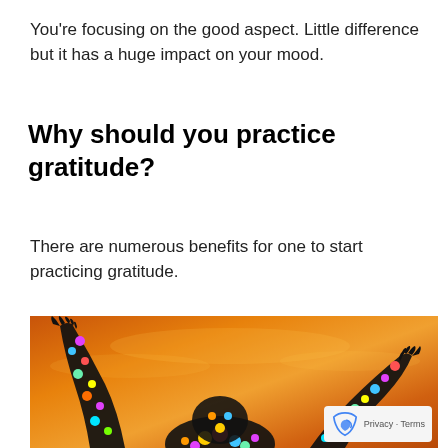You’re focusing on the good aspect. Little difference but it has a huge impact on your mood.
Why should you practice gratitude?
There are numerous benefits for one to start practicing gratitude.
[Figure (illustration): A silhouette of a person with arms raised, made up of colorful emoji icons, against an orange/amber sky background. A reCAPTCHA privacy badge appears in the bottom-right corner.]